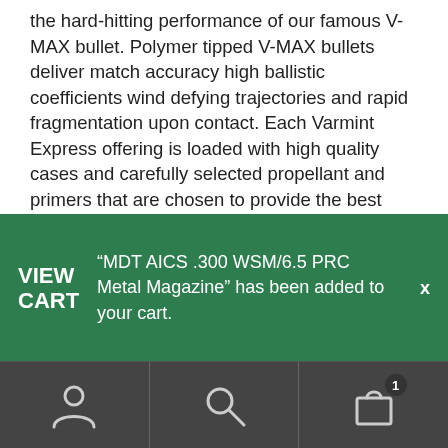the hard-hitting performance of our famous V-MAX bullet. Polymer tipped V-MAX bullets deliver match accuracy high ballistic coefficients wind defying trajectories and rapid fragmentation upon contact. Each Varmint Express offering is loaded with high quality cases and carefully selected propellant and primers that are chosen to provide the best performance in each individual load.Features:PROVEN BULLETS: Hornady V-MAX bullets consistently achieve accuracy and rapid fragmentation at all practical varmint shooting velocities.POWDER: Each cartridge is loaded to ensure optimal pressure velocity accuracy and lot-to-lot consistency.SELECT BRASS: Hornady produces most of the
VIEW CART  "MDT AICS .300 WSM/6.5 PRC Metal Magazine" has been added to your cart.  x